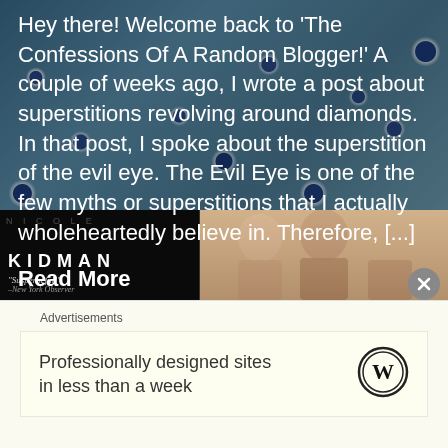[Figure (photo): Background photo of blue evil eye bead ornaments hanging from tree branches, with overlaid blog text in white.]
Hey there! Welcome back to 'The Confessions Of A Random Blogger!' A couple of weeks ago, I wrote a post about superstitions revolving around diamonds. In that post, I spoke about the superstition of the evil eye. The Evil Eye is one of the few myths or superstitions that I actually wholeheartedly believe in. Therefore, [...]
Read More
[Figure (photo): Two advertisement images: left shows a dark movie poster with text 'KIDMAN' and quote 'Suspenseful! -New York Observer'; right shows a photo of people smiling.]
Advertisements
Professionally designed sites in less than a week